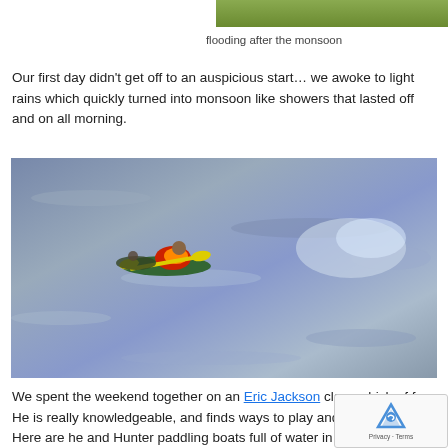[Figure (photo): Top portion of a photo showing green vegetation/flooding after monsoon]
flooding after the monsoon
Our first day didn't get off to an auspicious start… we awoke to light rains which quickly turned into monsoon like showers that lasted off and on all morning.
[Figure (photo): Photo of a kayaker in red kayak with yellow paddle paddling through rough choppy grey water]
We spent the weekend together on an Eric Jackson class which of fun. He is really knowledgeable, and finds ways to play and te same time. Here are he and Hunter paddling boats full of water in the